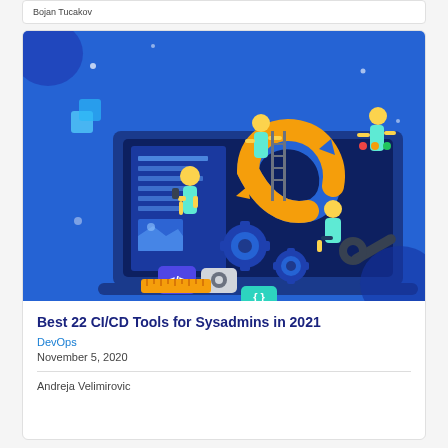Bojan Tucakov
[Figure (illustration): Isometric illustration of DevOps/CI-CD concept: people working around a large laptop with gears, code brackets, a CI/CD infinity loop symbol, and development tools on a blue gradient background.]
Best 22 CI/CD Tools for Sysadmins in 2021
DevOps
November 5, 2020
Andreja Velimirovic